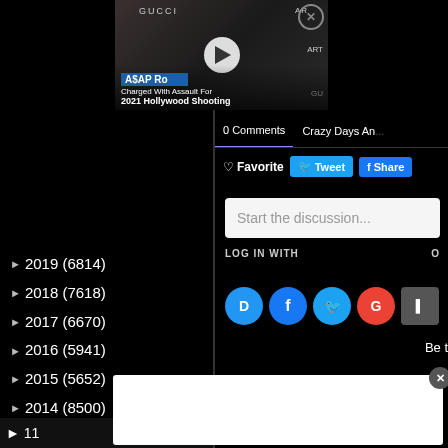[Figure (screenshot): Video thumbnail showing A$AP Rocky charged with assault for 2021 Hollywood Shooting, with GUCCI branding in background and play button overlay]
► 2019 (6814)
► 2018 (7618)
► 2017 (6670)
► 2016 (5941)
► 2015 (5652)
► 2014 (8500)
▼ 2013 (7910)
► 12/29 - 01/05 (250)
► 12/22 - 12/29 (157)
► 12/15 - 12/22 (176)
► 12/08 - 12/15 (171)
0 Comments   Crazy Days An...
♡ Favorite   Tweet   f Share
Start the discussion...
LOG IN WITH
Be t